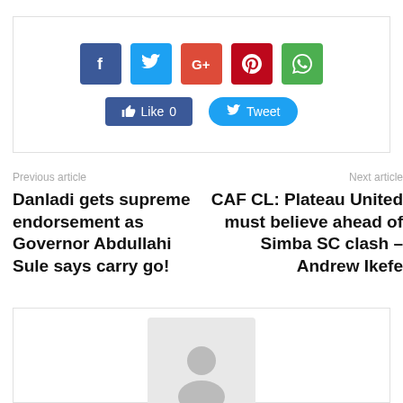[Figure (infographic): Social share buttons: Facebook, Twitter, Google+, Pinterest, WhatsApp icons, plus Like 0 and Tweet buttons]
Previous article
Danladi gets supreme endorsement as Governor Abdullahi Sule says carry go!
Next article
CAF CL: Plateau United must believe ahead of Simba SC clash – Andrew Ikefe
[Figure (photo): Author avatar placeholder image (gray silhouette)]